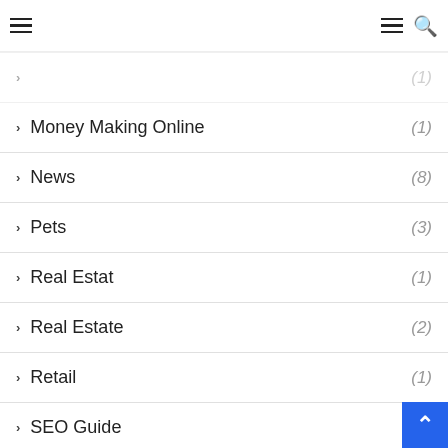Navigation header with hamburger menus and search icon
Money Making Online (1)
News (8)
Pets (3)
Real Estat (1)
Real Estate (2)
Retail (1)
SEO Guide (8)
Social (6)
Social Media (7)